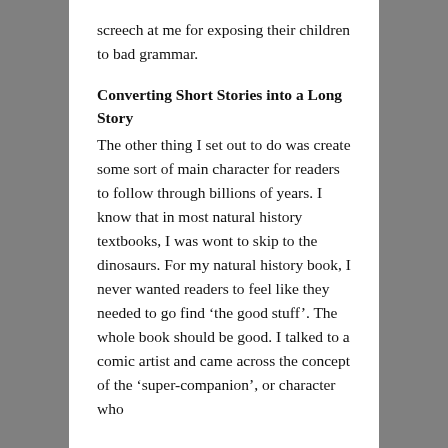screech at me for exposing their children to bad grammar.
Converting Short Stories into a Long Story
The other thing I set out to do was create some sort of main character for readers to follow through billions of years. I know that in most natural history textbooks, I was wont to skip to the dinosaurs. For my natural history book, I never wanted readers to feel like they needed to go find ‘the good stuff’. The whole book should be good. I talked to a comic artist and came across the concept of the ‘super-companion’, or character who